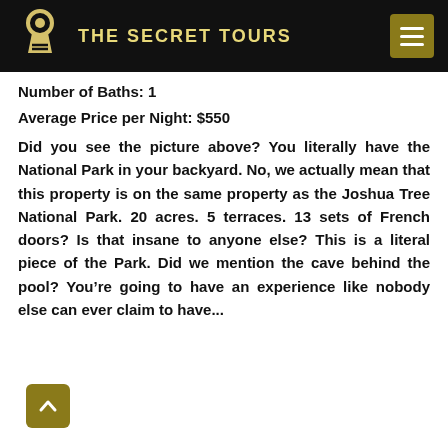THE SECRET TOURS
Number of Baths: 1
Average Price per Night:  $550
Did you see the picture above?  You literally have the National Park in your backyard.  No, we actually mean that this property is on the same property as the Joshua Tree National Park.  20 acres.  5 terraces.  13 sets of French doors?  Is that insane to anyone else?  This is a literal piece of the Park.  Did we mention the cave behind the pool?  You’re going to have an experience like nobody else can ever claim to have...